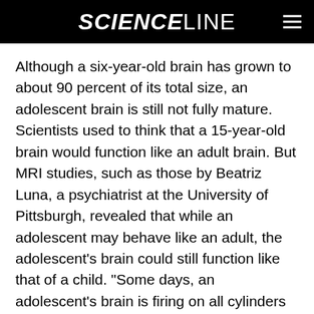SCIENCELINE
Although a six-year-old brain has grown to about 90 percent of its total size, an adolescent brain is still not fully mature. Scientists used to think that a 15-year-old brain would function like an adult brain. But MRI studies, such as those by Beatriz Luna, a psychiatrist at the University of Pittsburgh, revealed that while an adolescent may behave like an adult, the adolescent’s brain could still function like that of a child. “Some days, an adolescent’s brain is firing on all cylinders and is cognitively like an adult’s,” says Craig Bennett, a developmental cognitive scientist at the University of California at Santa Barbara. “But if the brain is taxed, it could regress